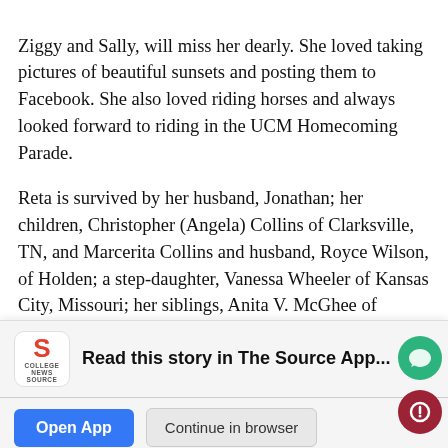Ziggy and Sally, will miss her dearly. She loved taking pictures of beautiful sunsets and posting them to Facebook. She also loved riding horses and always looked forward to riding in the UCM Homecoming Parade.
Reta is survived by her husband, Jonathan; her children, Christopher (Angela) Collins of Clarksville, TN, and Marcerita Collins and husband, Royce Wilson, of Holden; a step-daughter, Vanessa Wheeler of Kansas City, Missouri; her siblings, Anita V. McGhee of Warner Robins, Georgia, Sandra Avery of Warrensburg, Chester Collins of Concordia, Missourui, her twin
brother Robert Collins of Warrensburg, Etta Collins Baker of … [faded/obscured by banner]
[Figure (screenshot): App promotion banner for 'The Source App' by College News Source, with logo, headline 'Read this story in The Source App...', and two buttons: 'Open App' (blue) and 'Continue in browser' (gray).]
Janet Baker of Warrensburg; a sister, Wanda (Johnny) Smith of … [faded/obscured] … Wynter Bennett … [faded] … Collins